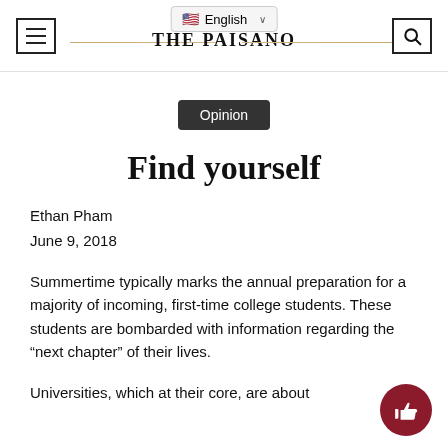THE PAISANO
Opinion
Find yourself
Ethan Pham
June 9, 2018
Summertime typically marks the annual preparation for a majority of incoming, first-time college students. These students are bombarded with information regarding the “next chapter” of their lives.
Universities, which at their core, are about